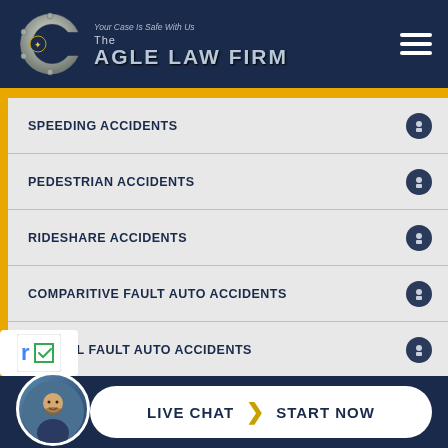[Figure (logo): The Cagle Law Firm logo with metallic C and text 'Your Case Is Safe With Us']
SPEEDING ACCIDENTS
PEDESTRIAN ACCIDENTS
RIDESHARE ACCIDENTS
COMPARITIVE FAULT AUTO ACCIDENTS
PARTIAL FAULT AUTO ACCIDENTS
DEFECTIVE ROAD ACCIDENTS
DISTRACTED DRIVING ACCIDENTS
[Figure (infographic): Live Chat button with attorney photo and 'LIVE CHAT | START NOW' call to action]